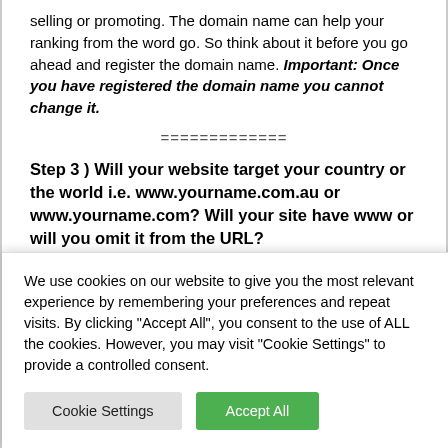selling or promoting. The domain name can help your ranking from the word go. So think about it before you go ahead and register the domain name. Important: Once you have registered the domain name you cannot change it.
=============
Step 3 ) Will your website target your country or the world i.e. www.yourname.com.au or www.yourname.com? Will your site have www or will you omit it from the URL?
This is important as you want all traffic to be directed to the
We use cookies on our website to give you the most relevant experience by remembering your preferences and repeat visits. By clicking "Accept All", you consent to the use of ALL the cookies. However, you may visit "Cookie Settings" to provide a controlled consent.